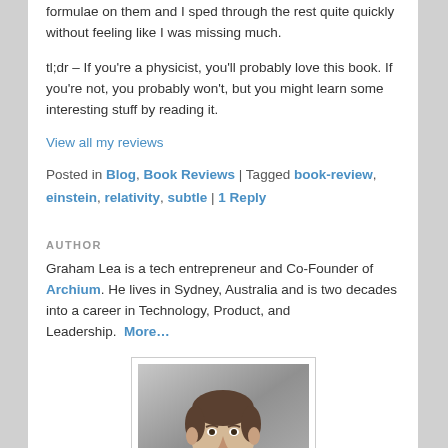formulae on them and I sped through the rest quite quickly without feeling like I was missing much.
tl;dr – If you're a physicist, you'll probably love this book. If you're not, you probably won't, but you might learn some interesting stuff by reading it.
View all my reviews
Posted in Blog, Book Reviews | Tagged book-review, einstein, relativity, subtle | 1 Reply
AUTHOR
Graham Lea is a tech entrepreneur and Co-Founder of Archium. He lives in Sydney, Australia and is two decades into a career in Technology, Product, and Leadership.  More…
[Figure (photo): Black and white headshot photo of Graham Lea]